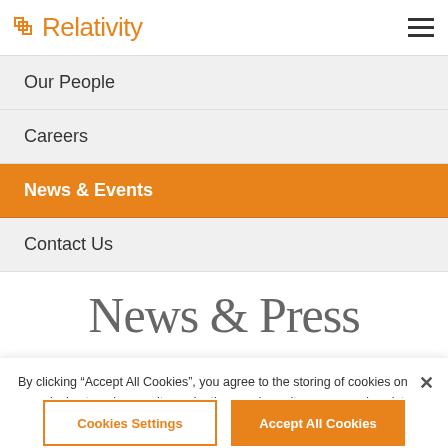Relativity
Our People
Careers
News & Events
Contact Us
News & Press
By clicking “Accept All Cookies”, you agree to the storing of cookies on your device to enhance site navigation, analyze site usage, and assist in our marketing efforts. Cookie Policy
Cookies Settings | Accept All Cookies